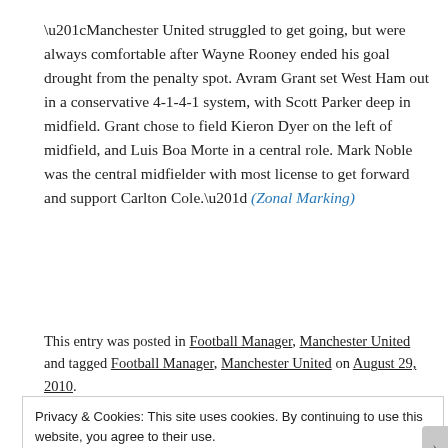“Manchester United struggled to get going, but were always comfortable after Wayne Rooney ended his goal drought from the penalty spot. Avram Grant set West Ham out in a conservative 4-1-4-1 system, with Scott Parker deep in midfield. Grant chose to field Kieron Dyer on the left of midfield, and Luis Boa Morte in a central role. Mark Noble was the central midfielder with most license to get forward and support Carlton Cole.” (Zonal Marking)
This entry was posted in Football Manager, Manchester United and tagged Football Manager, Manchester United on August 29, 2010.
Privacy & Cookies: This site uses cookies. By continuing to use this website, you agree to their use.
To find out more, including how to control cookies, see here: Cookie Policy